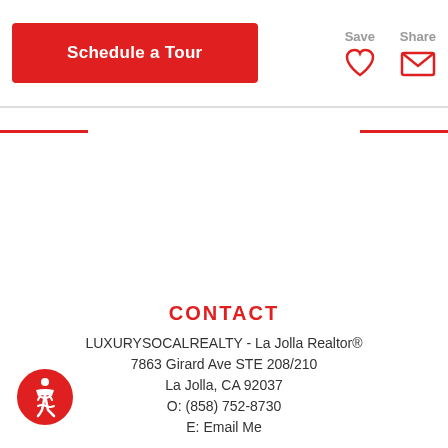[Figure (other): Schedule a Tour red button with Save (heart icon) and Share (envelope icon) action items in top navigation bar]
CONTACT
LUXURYSOCALREALTY - La Jolla Realtor®
7863 Girard Ave STE 208/210
La Jolla, CA 92037
O: (858) 752-8730
E: Email Me